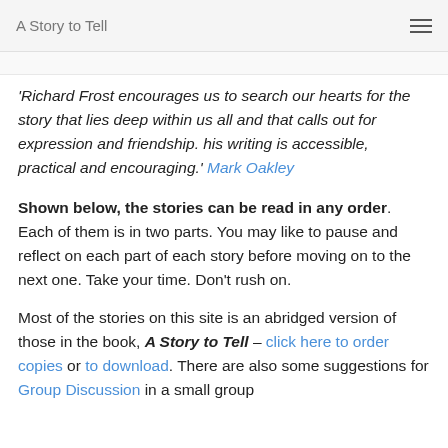A Story to Tell
'Richard Frost encourages us to search our hearts for the story that lies deep within us all and that calls out for expression and friendship. his writing is accessible, practical and encouraging.' Mark Oakley
Shown below, the stories can be read in any order. Each of them is in two parts. You may like to pause and reflect on each part of each story before moving on to the next one. Take your time. Don't rush on.
Most of the stories on this site is an abridged version of those in the book, A Story to Tell – click here to order copies or to download. There are also some suggestions for Group Discussion in a small group